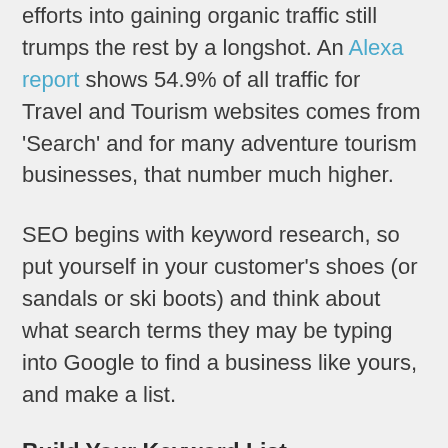efforts into gaining organic traffic still trumps the rest by a longshot. An Alexa report shows 54.9% of all traffic for Travel and Tourism websites comes from ‘Search’ and for many adventure tourism businesses, that number much higher.
SEO begins with keyword research, so put yourself in your customer’s shoes (or sandals or ski boots) and think about what search terms they may be typing into Google to find a business like yours, and make a list.
Build Your Keyword List